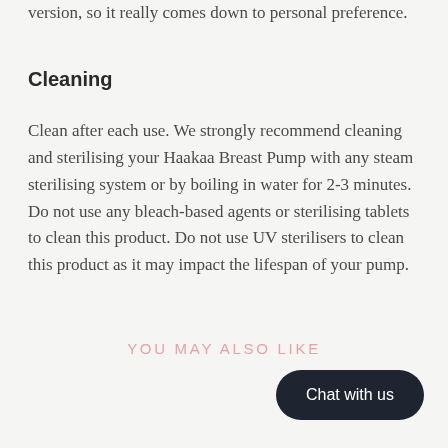version, so it really comes down to personal preference.
Cleaning
Clean after each use. We strongly recommend cleaning and sterilising your Haakaa Breast Pump with any steam sterilising system or by boiling in water for 2-3 minutes. Do not use any bleach-based agents or sterilising tablets to clean this product. Do not use UV sterilisers to clean this product as it may impact the lifespan of your pump.
YOU MAY ALSO LIKE
Chat with us